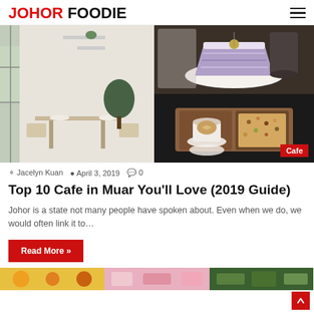JOHOR FOODIE
[Figure (photo): Three café photos arranged in a grid: left half shows a minimalist café interior with wooden tables, chairs, and a potted plant; top right shows a slice of purple layered cake on a white plate with a drink in the background; bottom right shows a wooden tray with a latte and a small bowl of granola, with a 'Cafe' badge overlay.]
Jacelyn Kuan   April 3, 2019   0
Top 10 Cafe in Muar You'll Love (2019 Guide)
Johor is a state not many people have spoken about. Even when we do, we would often link it to…
Read More »
[Figure (photo): Partial bottom strip showing three more article thumbnail images partially visible.]